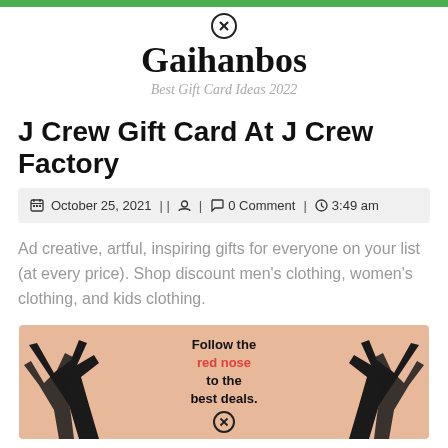Gaihanbos — Best Gift Card Ideas 2022
J Crew Gift Card At J Crew Factory
October 25, 2021 | | 🔒 | 💬 0 Comment | 🕐 3:49 am
Ad creative, artful, inspiring gifts for everyone on your list (at every price). Shop discount men's clothing, women's clothing, and kids clothing.
[Figure (illustration): Salmon/peach background with black antler silhouettes on left and right sides, centered text reading 'Follow the red nose to the best deals.' with a close/X icon circle at the bottom center.]